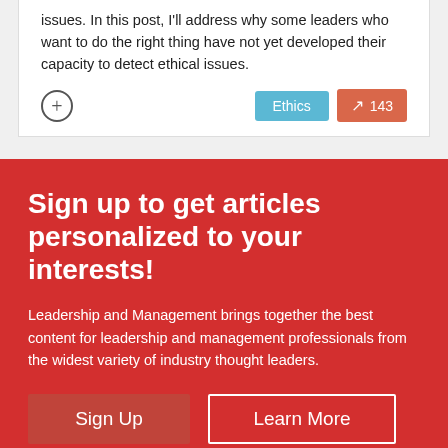issues. In this post, I'll address why some leaders who want to do the right thing have not yet developed their capacity to detect ethical issues.
Ethics | 143
Sign up to get articles personalized to your interests!
Leadership and Management brings together the best content for leadership and management professionals from the widest variety of industry thought leaders.
Sign Up | Learn More